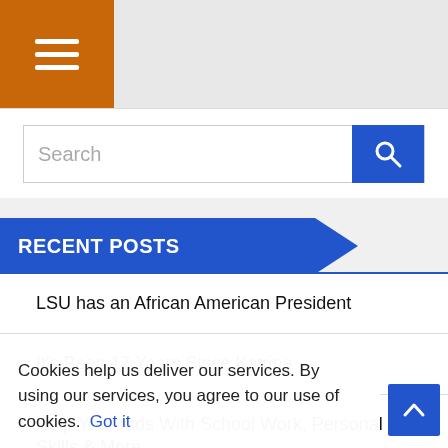[Figure (screenshot): Orange navigation bar with hamburger menu icon (three white horizontal lines) on left side]
[Figure (screenshot): Search bar with text input field and blue search button with magnifying glass icon]
RECENT POSTS
LSU has an African American President
It's Been 17 Years Since Katrina
Help Your Kids With School Work, Personal Skills & More
Stay True to Yourself in Your Relationships
Cookies help us deliver our services. By using our services, you agree to our use of cookies. Got it